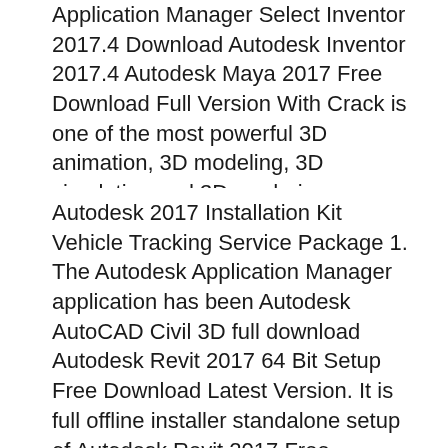Application Manager Select Inventor 2017.4 Download Autodesk Inventor 2017.4 Autodesk Maya 2017 Free Download Full Version With Crack is one of the most powerful 3D animation, 3D modeling, 3D simulation and 3D rendering applications.
Autodesk 2017 Installation Kit Vehicle Tracking Service Package 1. The Autodesk Application Manager application has been Autodesk AutoCAD Civil 3D full download Autodesk Revit 2017 64 Bit Setup Free Download Latest Version. It is full offline installer standalone setup of Autodesk Revit 2017 Free Download for 64.
(partially visible text continues below)